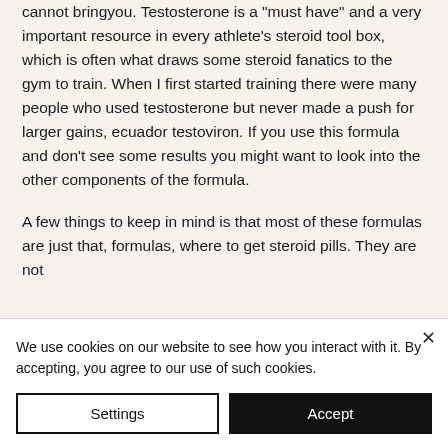cannot bringyou. Testosterone is a "must have" and a very important resource in every athlete's steroid tool box, which is often what draws some steroid fanatics to the gym to train. When I first started training there were many people who used testosterone but never made a push for larger gains, ecuador testoviron. If you use this formula and don't see some results you might want to look into the other components of the formula.

A few things to keep in mind is that most of these formulas are just that, formulas, where to get steroid pills. They are not
We use cookies on our website to see how you interact with it. By accepting, you agree to our use of such cookies.
Settings
Accept